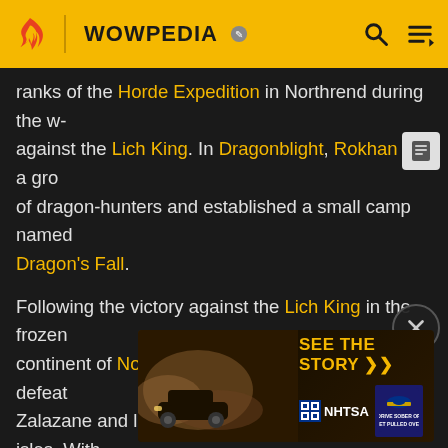WOWPEDIA
ranks of the Horde Expedition in Northrend during the w- against the Lich King. In Dragonblight, Rokhan led a gro of dragon-hunters and established a small camp named Dragon's Fall.
Following the victory against the Lich King in the frozen continent of Northrend, Vol'jin renewed his bid to defeat Zalazane and launched a brilliant assault on the isles. With the help of the tribe's ancestral loa, the courageous
Darkspears killed the maddened witch doctor and seiz their en hin the Horde f be regardi y named Garrosh temporary Horde Warchief.
[Figure (advertisement): NHTSA 'Drive Sober or Get Pulled Over' advertisement banner showing SEE THE STORY >> with dark background and car/smoke imagery]